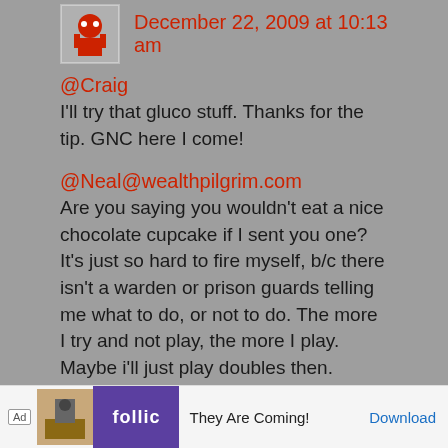December 22, 2009 at 10:13 am
@Craig
I'll try that gluco stuff. Thanks for the tip. GNC here I come!
@Neal@wealthpilgrim.com
Are you saying you wouldn't eat a nice chocolate cupcake if I sent you one? It's just so hard to fire myself, b/c there isn't a warden or prison guards telling me what to do, or not to do. The more I try and not play, the more I play. Maybe i'll just play doubles then.
[Figure (screenshot): Ad banner at bottom: Rollic game ad with 'They Are Coming!' text and Download button]